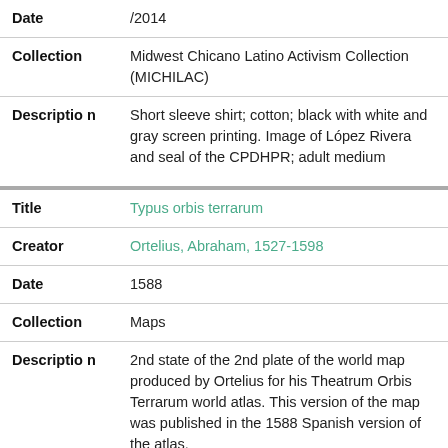| Field | Value |
| --- | --- |
| Date | /2014 |
| Collection | Midwest Chicano Latino Activism Collection (MICHILAC) |
| Description | Short sleeve shirt; cotton; black with white and gray screen printing. Image of López Rivera and seal of the CPDHPR; adult medium |
| Title | Typus orbis terrarum |
| Creator | Ortelius, Abraham, 1527-1598 |
| Date | 1588 |
| Collection | Maps |
| Description | 2nd state of the 2nd plate of the world map produced by Ortelius for his Theatrum Orbis Terrarum world atlas. This version of the map was published in the 1588 Spanish version of the atlas. |